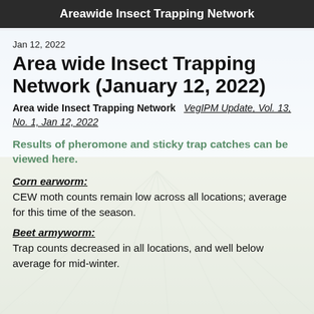Areawide Insect Trapping Network
Jan 12, 2022
Area wide Insect Trapping Network (January 12, 2022)
Area wide Insect Trapping Network   VegIPM Update, Vol. 13, No. 1, Jan 12, 2022
Results of pheromone and sticky trap catches can be viewed here.
Corn earworm:
CEW moth counts remain low across all locations; average for this time of the season.
Beet armyworm:
Trap counts decreased in all locations, and well below average for mid-winter.